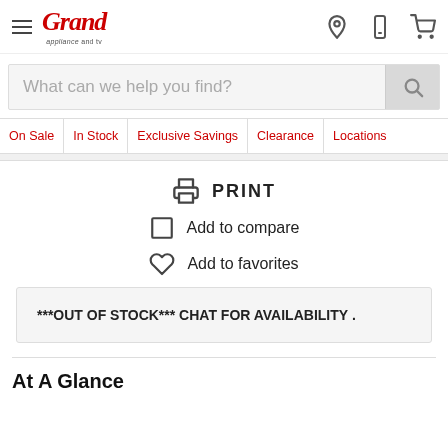Grand Appliance and TV — navigation header with hamburger menu, logo, location, phone, and cart icons
What can we help you find?
On Sale
In Stock
Exclusive Savings
Clearance
Locations
PRINT
Add to compare
Add to favorites
***OUT OF STOCK*** CHAT FOR AVAILABILITY .
At A Glance